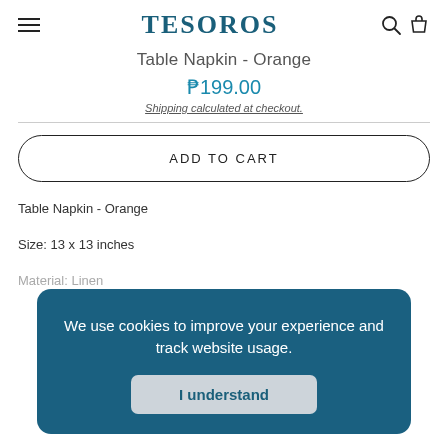TESOROS
Table Napkin - Orange
₱199.00
Shipping calculated at checkout.
ADD TO CART
Table Napkin - Orange
Size: 13 x 13 inches
Material: Linen
We use cookies to improve your experience and track website usage.
I understand